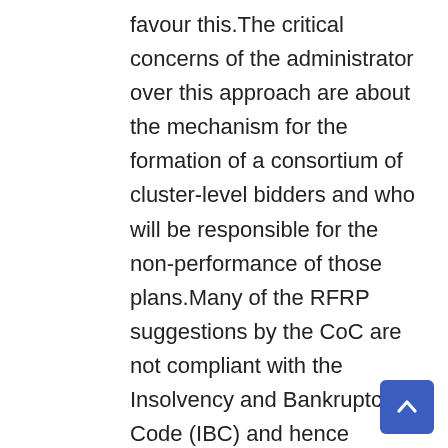favour this.The critical concerns of the administrator over this approach are about the mechanism for the formation of a consortium of cluster-level bidders and who will be responsible for the non-performance of those plans.Many of the RFRP suggestions by the CoC are not compliant with the Insolvency and Bankruptcy Code (IBC) and hence leading to friction with the administrator, sources said.The Reserve Bank of India (RBI) had, on November 29 last year, superseded the board of Reliance Capital Ltd (RCL), given payment defaults and serious governance issues.The RBI appointed Nageswara Rao Y as the administrator of the company's Corporate Insolvency Resolution Process (CIRP).This is the third large non-banking financial company (NBFC) against